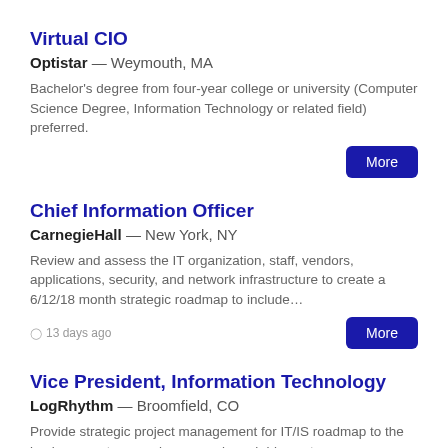Virtual CIO
Optistar — Weymouth, MA
Bachelor's degree from four-year college or university (Computer Science Degree, Information Technology or related field) preferred.
Chief Information Officer
CarnegieHall — New York, NY
Review and assess the IT organization, staff, vendors, applications, security, and network infrastructure to create a 6/12/18 month strategic roadmap to include…
13 days ago
Vice President, Information Technology
LogRhythm — Broomfield, CO
Provide strategic project management for IT/IS roadmap to the business partners, gain approvals and drive outcomes.